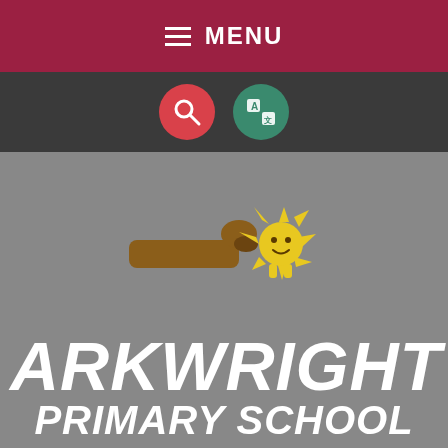MENU
[Figure (screenshot): Navigation bar with search icon (red circle with magnifying glass) and translate icon (green circle with A and language symbol)]
[Figure (illustration): School mascot illustration: a brown log/creature with yellow spiky sun-like character on a grey background]
ARKWRIGHT PRIMARY SCHOOL